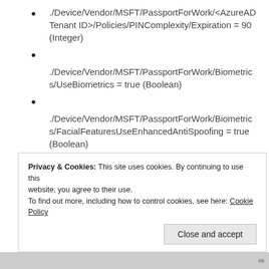./Device/Vendor/MSFT/PassportForWork/<AzureAD Tenant ID>/Policies/PINComplexity/Expiration = 90 (Integer)
./Device/Vendor/MSFT/PassportForWork/Biometrics/UseBiometrics = true (Boolean)
./Device/Vendor/MSFT/PassportForWork/Biometrics/FacialFeaturesUseEnhancedAntiSpoofing = true (Boolean)
When you add the above entries to a custom Windows 10 policy it will look like this:
Privacy & Cookies: This site uses cookies. By continuing to use this website, you agree to their use. To find out more, including how to control cookies, see here: Cookie Policy
Close and accept